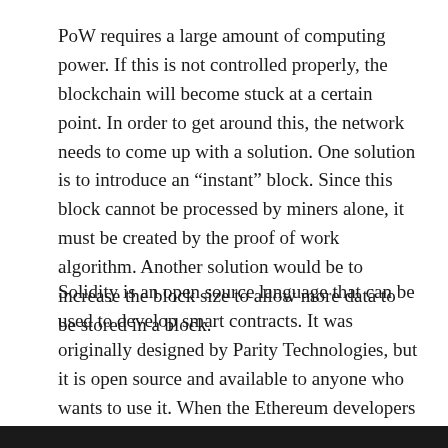PoW requires a large amount of computing power. If this is not controlled properly, the blockchain will become stuck at a certain point. In order to get around this, the network needs to come up with a solution. One solution is to introduce an “instant” block. Since this block cannot be processed by miners alone, it must be created by the proof of work algorithm. Another solution would be to increase the block size to allow more data to be stored in a block.
Solidity is an open source language that can be used to develop smart contracts. It was originally designed by Parity Technologies, but it is open source and available to anyone who wants to use it. When the Ethereum developers decide that they need to increase the block size, they will likely make a smart contract that requires users to install the new software in order to run.